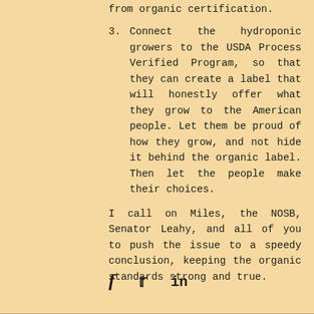from organic certification.
3.  Connect the hydroponic growers to the USDA Process Verified Program, so that they can create a label that will honestly offer what they grow to the American people. Let them be proud of how they grow, and not hide it behind the organic label. Then let the people make their choices.
I call on Miles, the NOSB, Senator Leahy, and all of you to push the issue to a speedy conclusion, keeping the organic standards strong and true.